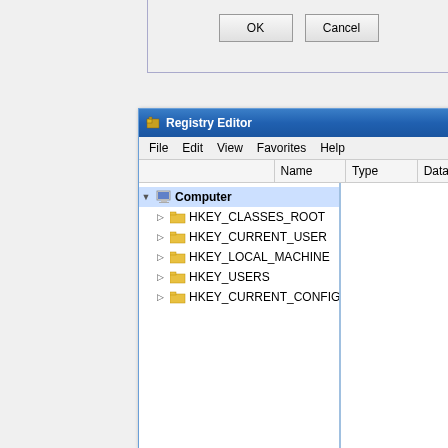[Figure (screenshot): Partial dialog box showing OK and Cancel buttons at the top of the page]
[Figure (screenshot): Windows Registry Editor window showing the tree pane with Computer node expanded to show HKEY_CLASSES_ROOT, HKEY_CURRENT_USER, HKEY_LOCAL_MACHINE, HKEY_USERS, HKEY_CURRENT_CONFIG, and the right pane with Name, Type, Data columns]